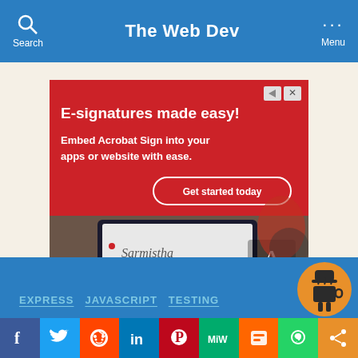Search   The Web Dev   Menu
[Figure (screenshot): Adobe Acrobat Sign advertisement. Red background with text 'E-signatures made easy! Embed Acrobat Sign into your apps or website with ease.' and 'Get started today' button. Bottom half shows photo of hands signing on a tablet with Adobe logo.]
EXPRESS  JAVASCRIPT  TESTING
[Figure (infographic): Social media sharing bar with icons for Facebook, Twitter, Reddit, LinkedIn, Pinterest, MeWe, Mix, WhatsApp, and Share.]